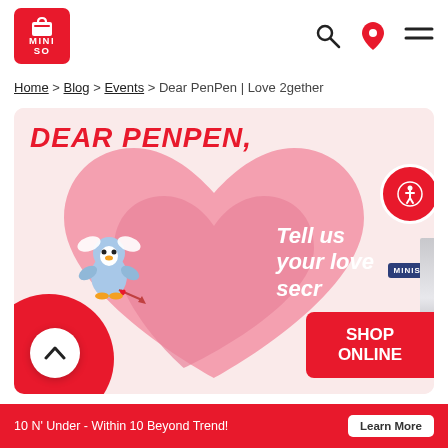[Figure (logo): MINISO red shopping bag logo]
Home > Blog > Events > Dear PenPen | Love 2gether
[Figure (illustration): Dear PenPen Love 2gether promotional banner with pink heart background, cupid PenPen character, and text 'Tell us your love secr...' in white on pink heart. MINISO pen visible on right side.]
SHOP ONLINE
10 N' Under - Within 10 Beyond Trend!